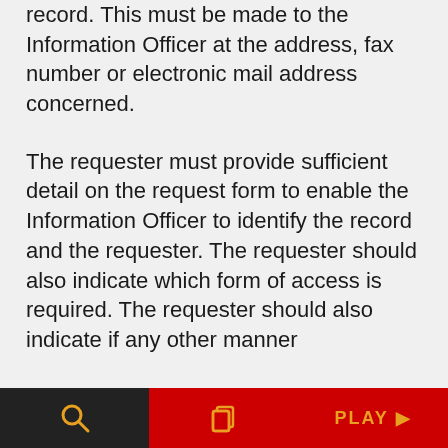record. This must be made to the Information Officer at the address, fax number or electronic mail address concerned.
The requester must provide sufficient detail on the request form to enable the Information Officer to identify the record and the requester. The requester should also indicate which form of access is required. The requester should also indicate if any other manner